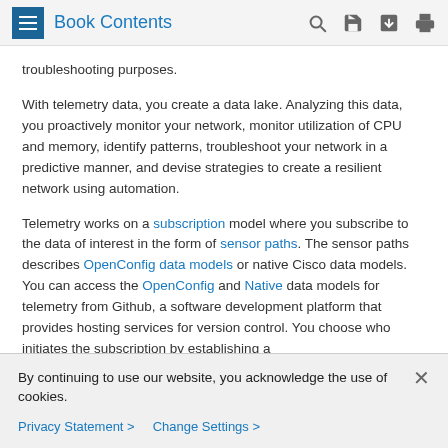Book Contents
troubleshooting purposes.
With telemetry data, you create a data lake. Analyzing this data, you proactively monitor your network, monitor utilization of CPU and memory, identify patterns, troubleshoot your network in a predictive manner, and devise strategies to create a resilient network using automation.
Telemetry works on a subscription model where you subscribe to the data of interest in the form of sensor paths. The sensor paths describes OpenConfig data models or native Cisco data models. You can access the OpenConfig and Native data models for telemetry from Github, a software development platform that provides hosting services for version control. You choose who initiates the subscription by establishing a
By continuing to use our website, you acknowledge the use of cookies.
Privacy Statement > Change Settings >